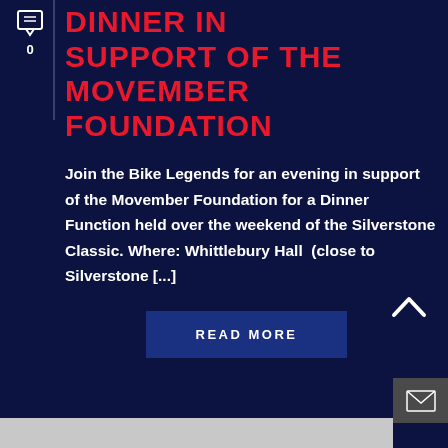[Figure (illustration): Chat/comment bubble icon in white outline style]
0
DINNER IN SUPPORT OF THE MOVEMBER FOUNDATION
Join the Bike Legends for an evening in support of the Movember Foundation for a Dinner Function held over the weekend of the Silverstone Classic. Where: Whittlebury Hall (close to Silverstone [...]
READ MORE